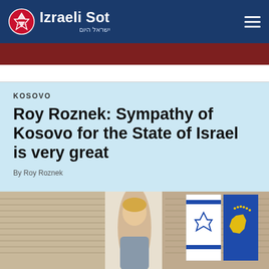Izraeli Sot — ישראל היום
KOSOVO
Roy Roznek: Sympathy of Kosovo for the State of Israel is very great
By Roy Roznek
[Figure (photo): Photo showing a person with Israeli and Kosovo flags in the background]